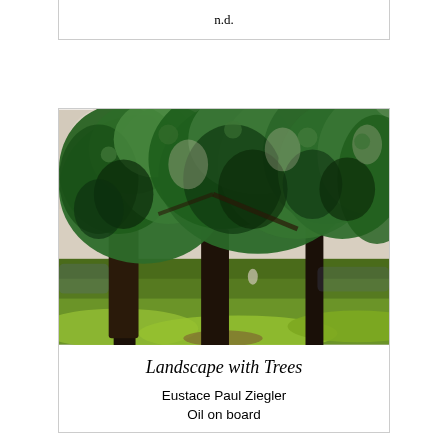n.d.
[Figure (photo): Oil painting titled 'Landscape with Trees' by Eustace Paul Ziegler. Depicts large green trees with broad foliage against a light sky, with green grass in the foreground.]
Landscape with Trees
Eustace Paul Ziegler
Oil on board